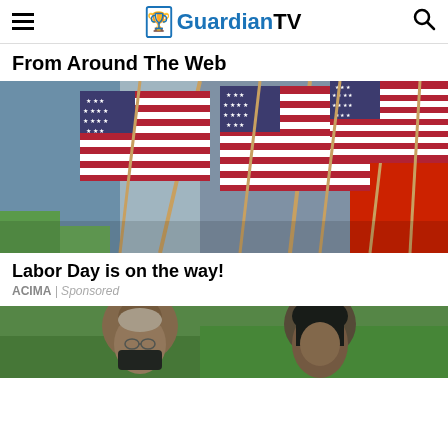GuardianTV
From Around The Web
[Figure (photo): Multiple small American flags with red, white and blue stripes and stars, displayed in a store setting]
Labor Day is on the way!
ACIMA | Sponsored
[Figure (photo): Two people outdoors, partially visible, with green foliage in background]